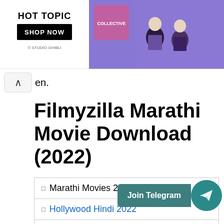[Figure (screenshot): Hot Topic advertisement banner with Studio Ghibli themed characters in purple background on the left, and Hot Topic logo with 'SHOP NOW' button on the right]
en.
Filmyzilla Marathi Movie Download (2022)
Marathi Movies 2022
Hollywood Hindi 2022
Bollywood Hindi 2022
English Movies 2022
Web Series Hindi 2022
Web Series Marathi 2022